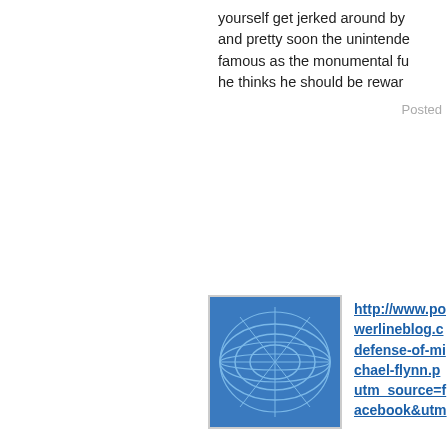yourself get jerked around by and pretty soon the unintende famous as the monumental fu he thinks he should be rewar
Posted
http://www.powerlineblog.c defense-of-michael-flynn.p utm_source=facebook&utm
Reading bottom up, thanks M update. Can only imagine the
Po
Prayers for you and yours, {(
Po
RG, prayers for your Mother a